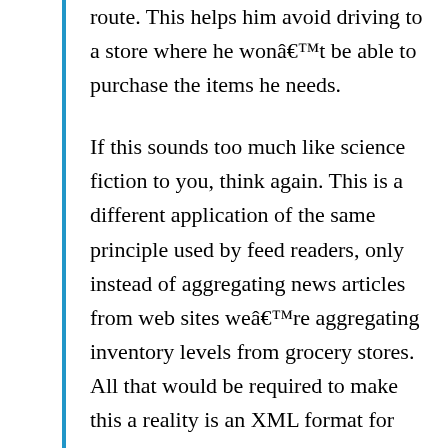route. This helps him avoid driving to a store where he wonât be able to purchase the items he needs.

If this sounds too much like science fiction to you, think again. This is a different application of the same principle used by feed readers, only instead of aggregating news articles from web sites weâre aggregating inventory levels from grocery stores. All that would be required to make this a reality is an XML format for